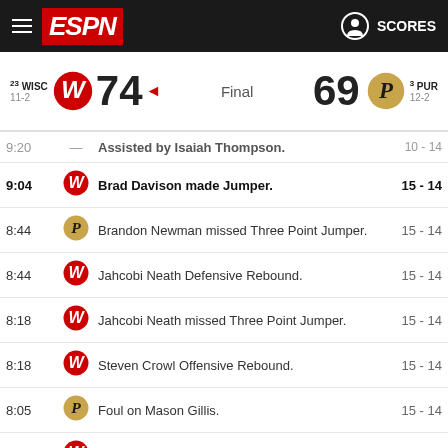ESPN SCORES
| Score | Final | Score |
| --- | --- | --- |
| 23 WISC 11-2  74 | Final | 69  3 PUR 12-2 |
| Time | Team | Play | Score |
| --- | --- | --- | --- |
| 9:20 | — | Assisted by Isaiah Thompson. | 10 - 14 |
| 9:04 | WISC | Brad Davison made Jumper. | 15 - 14 |
| 8:44 | PUR | Brandon Newman missed Three Point Jumper. | 15 - 14 |
| 8:44 | WISC | Jahcobi Neath Defensive Rebound. | 15 - 14 |
| 8:18 | WISC | Jahcobi Neath missed Three Point Jumper. | 15 - 14 |
| 8:18 | WISC | Steven Crowl Offensive Rebound. | 15 - 14 |
| 8:05 | PUR | Foul on Mason Gillis. | 15 - 14 |
| 8:05 | WISC | Jahcobi Neath made Free Throw. | 16 - 14 |
| 8:05 | WISC | Jahcobi Neath missed Free Throw. | 16 - 14 |
| 8:05 | PUR | Zach Edey Defensive Rebound. | 16 - 14 |
| 7:47 | WISC | Foul on Jahcobi Neath. | 16 - 14 |